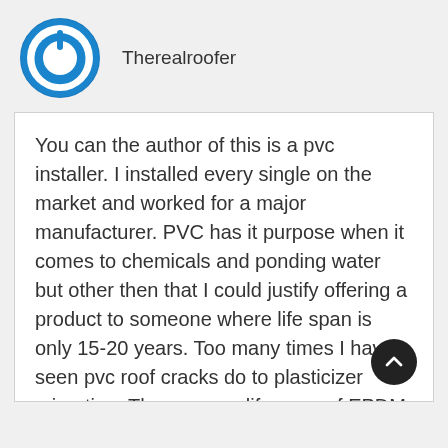[Figure (logo): Circular blue power button icon used as user avatar]
Therealroofer
You can the author of this is a pvc installer. I installed every single on the market and worked for a major manufacturer. PVC has it purpose when it comes to chemicals and ponding water but other then that I could justify offering a product to someone where life span is only 15-20 years. Too many times I have seen pvc roof cracks do to plasticizer migration. The average life span of EPDM membrane itself is 30 years. Sur there are bad contractors but pvc